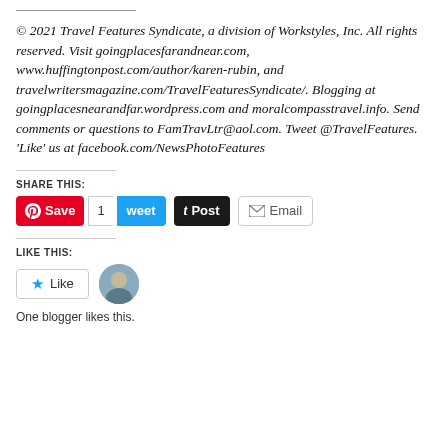© 2021 Travel Features Syndicate, a division of Workstyles, Inc. All rights reserved. Visit goingplacesfarandnear.com, www.huffingtonpost.com/author/karen-rubin, and travelwritersmagazine.com/TravelFeaturesSyndicate/. Blogging at goingplacesnearandfar.wordpress.com and moralcompasstravel.info. Send comments or questions to FamTravLtr@aol.com. Tweet @TravelFeatures. 'Like' us at facebook.com/NewsPhotoFeatures
SHARE THIS:
[Figure (screenshot): Social sharing buttons: Pinterest Save, Tweet with count 1, Tumblr Post, Email]
LIKE THIS:
[Figure (screenshot): Like button with star icon and blogger avatar thumbnail]
One blogger likes this.